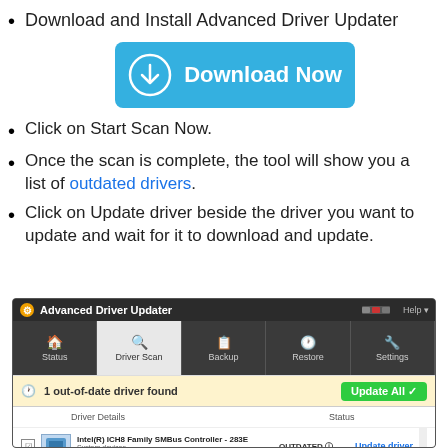Download and Install Advanced Driver Updater
[Figure (screenshot): Blue 'Download Now' button with a download arrow icon]
Click on Start Scan Now.
Once the scan is complete, the tool will show you a list of outdated drivers.
Click on Update driver beside the driver you want to update and wait for it to download and update.
[Figure (screenshot): Advanced Driver Updater application window showing 1 out-of-date driver found: Intel(R) ICH8 Family SMBus Controller - 283E, System devices, Version: 10.0.22, Status: OUTDATED, with Update All and Update driver buttons]